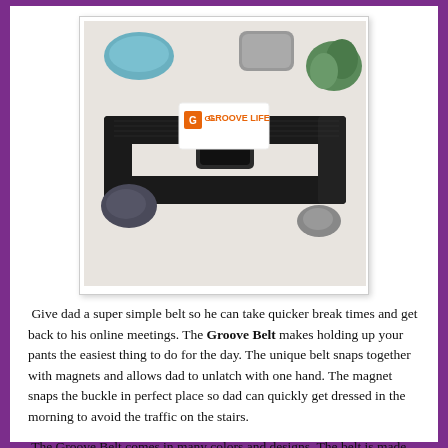[Figure (photo): A black Groove Life belt coiled on a marble surface with decorative stones and succulents. A white card with the orange Groove Life logo and text is placed inside the loop of the belt.]
Give dad a super simple belt so he can take quicker break times and get back to his online meetings. The Groove Belt makes holding up your pants the easiest thing to do for the day. The unique belt snaps together with magnets and allows dad to unlatch with one hand. The magnet snaps the buckle in perfect place so dad can quickly get dressed in the morning to avoid the traffic on the stairs.
The Groove Belt comes in many colors and designs. The belt is made from strong quality strong webbing material and the buckle is made from a durable zinc...